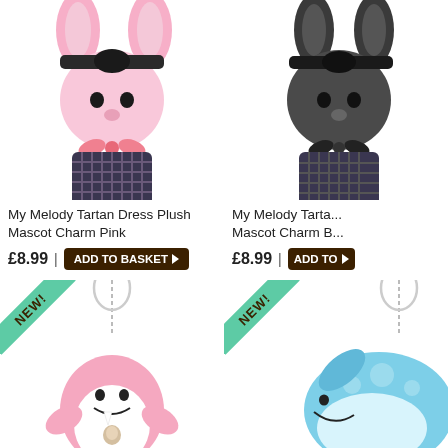[Figure (photo): My Melody pink plush mascot charm in tartan dress with pink bow, ball chain keychain]
My Melody Tartan Dress Plush Mascot Charm Pink
£8.99 | ADD TO BASKET
[Figure (photo): My Melody black plush mascot charm in tartan dress, ball chain keychain, partially visible]
My Melody Tartan Dress Plush Mascot Charm B...
£8.99 | ADD TO...
[Figure (photo): Samesan Standing Jinbesan Friends Chibi Plush Mascot Charm - pink whale shark plush with ball chain, marked NEW]
Samesan Standing Jinbesan Friends Chibi Plush Mascot Charm
[Figure (photo): Jinbesan Laying Plush Mascot Charm - blue whale shark plush with ball chain, marked NEW, partially visible]
Jinbesan Laying Plush Mascot Ch...
£6.59 | ADD TO...